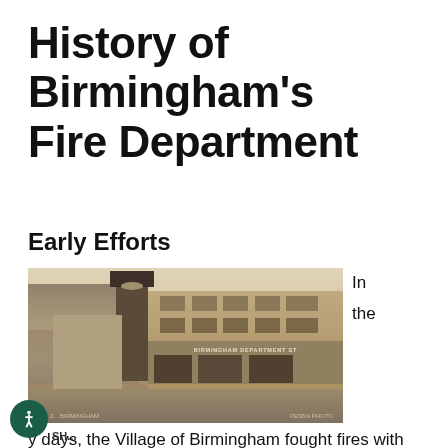History of Birmingham's Fire Department
Early Efforts
[Figure (photo): Sepia historical photograph of downtown Birmingham showing brick commercial buildings including a Birmingham Department Store sign, a church with a clock tower, bare winter trees, and a street scene. Caption reads 'BIRMINGHAM' on left and 'BESNA PHOTO' on right.]
In the
y days, the Village of Birmingham fought fires with